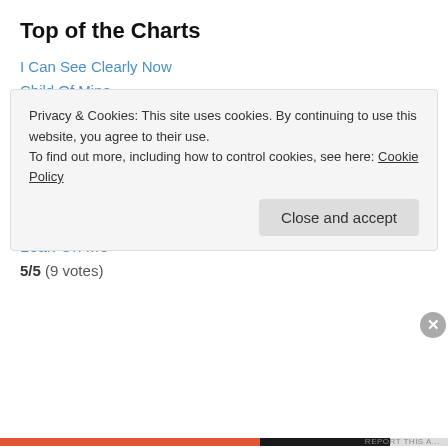Top of the Charts
I Can See Clearly Now
Child Of Mine
Top Rated
Posts | Pages | Comments
All | Today | This Week | This Month
Lean On Me
5/5 (9 votes)
Privacy & Cookies: This site uses cookies. By continuing to use this website, you agree to their use.
To find out more, including how to control cookies, see here: Cookie Policy
Close and accept